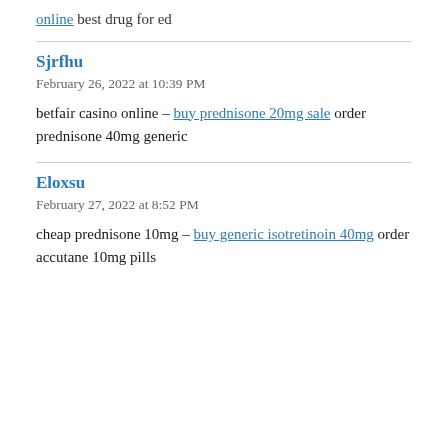online best drug for ed
Sjrfhu
February 26, 2022 at 10:39 PM
betfair casino online – buy prednisone 20mg sale order prednisone 40mg generic
Eloxsu
February 27, 2022 at 8:52 PM
cheap prednisone 10mg – buy generic isotretinoin 40mg order accutane 10mg pills